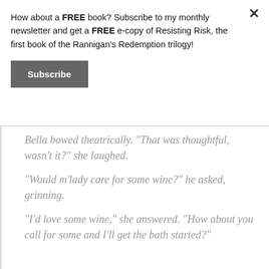How about a FREE book? Subscribe to my monthly newsletter and get a FREE e-copy of Resisting Risk, the first book of the Rannigan's Redemption trilogy!
[Figure (other): A dark grey rectangular Subscribe button with white bold text]
Bella bowed theatrically. “That was thoughtful, wasn’t it?” she laughed.
“Would m’lady care for some wine?” he asked, grinning.
“I’d love some wine,” she answered. “How about you call for some and I’ll get the bath started?”